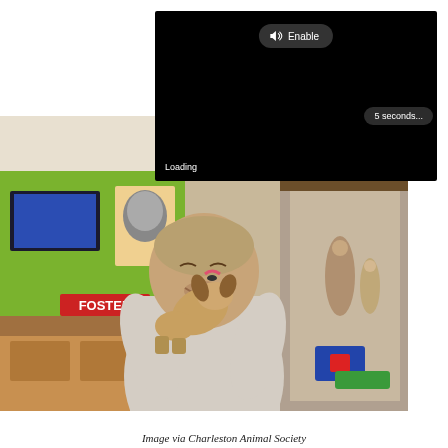[Figure (screenshot): A video player overlay showing a black loading screen with an 'Enable' audio button at the top center, a 'Loading' text at the bottom left, and a '5 seconds...' badge at the bottom right]
[Figure (photo): A man holding and being licked by a small dog inside what appears to be an animal shelter. A green wall with a 'FOSTER' sign and cat posters is visible in the background.]
Image via Charleston Animal Society